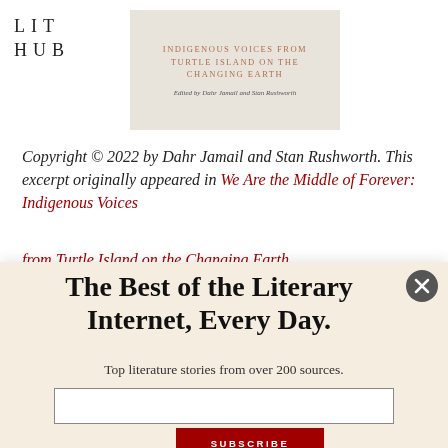LIT HUB
[Figure (illustration): Book cover for 'Indigenous Voices from Turtle Island on the Changing Earth', edited by Dahr Jamail and Stan Rushworth, with a beige background and serif red title text.]
Copyright © 2022 by Dahr Jamail and Stan Rushworth. This excerpt originally appeared in We Are the Middle of Forever: Indigenous Voices from Turtle Island on the Changing Earth
The Best of the Literary Internet, Every Day.
Top literature stories from over 200 sources.
SUBSCRIBE